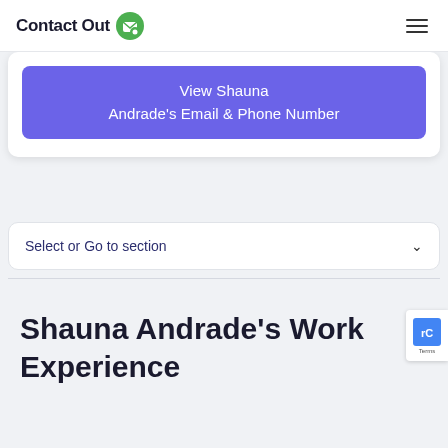ContactOut
View Shauna Andrade's Email & Phone Number
Select or Go to section
Shauna Andrade's Work Experience